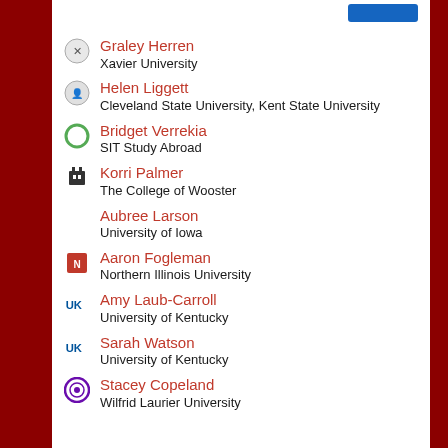Graley Herren
Xavier University
Helen Liggett
Cleveland State University, Kent State University
Bridget Verrekia
SIT Study Abroad
Korri Palmer
The College of Wooster
Aubree Larson
University of Iowa
Aaron Fogleman
Northern Illinois University
Amy Laub-Carroll
University of Kentucky
Sarah Watson
University of Kentucky
Stacey Copeland
Wilfrid Laurier University